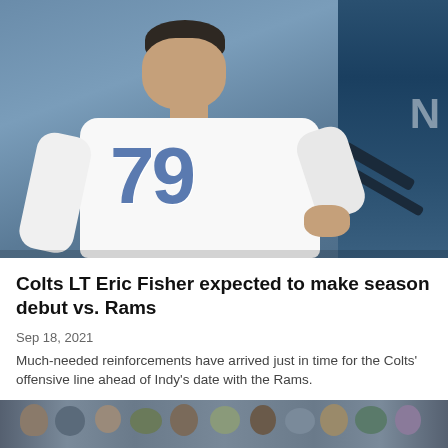[Figure (photo): Football player wearing jersey number 79 in white uniform standing with hand on hip, blue equipment/stands in background]
Colts LT Eric Fisher expected to make season debut vs. Rams
Sep 18, 2021
Much-needed reinforcements have arrived just in time for the Colts' offensive line ahead of Indy's date with the Rams.
[Figure (photo): Crowd scene at football stadium, partial view at bottom of page]